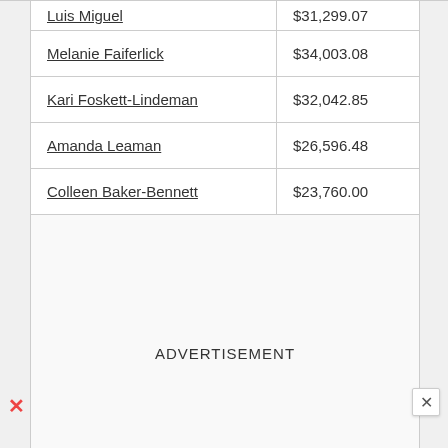| Name | Amount |
| --- | --- |
| Luis Miguel | $31,299.07 |
| Melanie Faiferlick | $34,003.08 |
| Kari Foskett-Lindeman | $32,042.85 |
| Amanda Leaman | $26,596.48 |
| Colleen Baker-Bennett | $23,760.00 |
ADVERTISEMENT